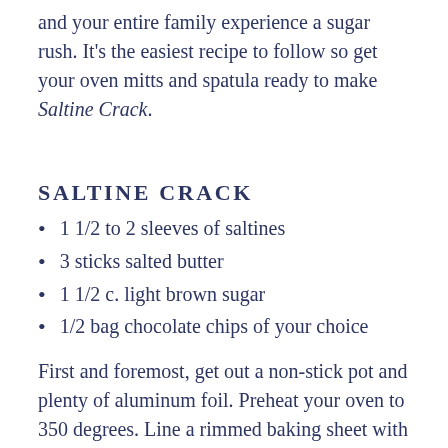and your entire family experience a sugar rush. It's the easiest recipe to follow so get your oven mitts and spatula ready to make Saltine Crack.
SALTINE CRACK
1 1/2 to 2 sleeves of saltines
3 sticks salted butter
1 1/2 c. light brown sugar
1/2 bag chocolate chips of your choice
First and foremost, get out a non-stick pot and plenty of aluminum foil. Preheat your oven to 350 degrees. Line a rimmed baking sheet with the foil